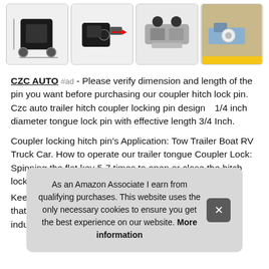[Figure (photo): Four product thumbnail images of a coupler hitch lock pin shown from different angles in a horizontal row]
CZC AUTO #ad - Please verify dimension and length of the pin you want before purchasing our coupler hitch lock pin. Czc auto trailer hitch coupler locking pin design1/4 inch diameter tongue lock pin with effective length 3/4 Inch.
Coupler locking hitch pin’s Application: Tow Trailer Boat RV Truck Car. How to operate our trailer tongue Coupler Lock: Spinning the flat key 5-7 times to open or close the hitch lock.
Kee... that... indu...
As an Amazon Associate I earn from qualifying purchases. This website uses the only necessary cookies to ensure you get the best experience on our website. More information